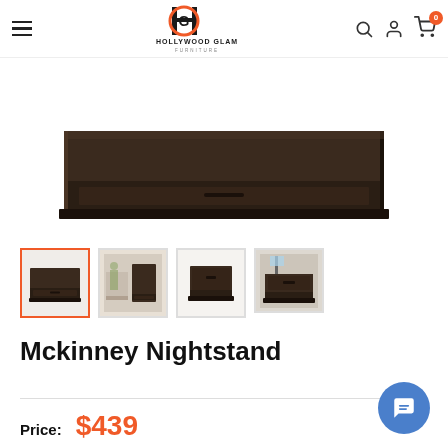Hollywood Glam Furniture — navigation header with logo, search, account, and cart icons
[Figure (photo): Mckinney Nightstand main product photo showing the top portion of a dark brown wood nightstand with a drawer]
[Figure (photo): Four thumbnail images of the Mckinney Nightstand from different angles; first thumbnail is selected with orange border]
Mckinney Nightstand
Price: $439